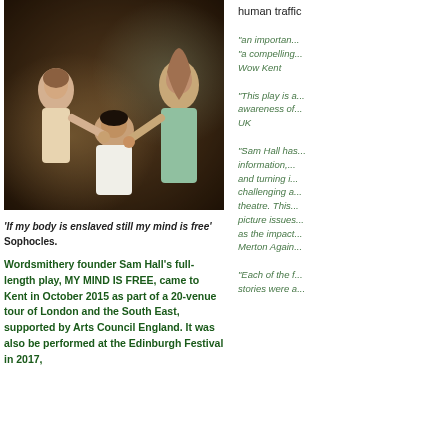[Figure (photo): Theatre performance scene showing three actors — two women and one man — in a physical struggle or dramatic pose on stage]
'If my body is enslaved still my mind is free' Sophocles.
Wordsmithery founder Sam Hall's full-length play, MY MIND IS FREE, came to Kent in October 2015 as part of a 20-venue tour of London and the South East, supported by Arts Council England. It was also be performed at the Edinburgh Festival in 2017,
human traffi...
"an importan...
"a compelling...
Wow Kent
"This play is a... awareness of... UK
"Sam Hall has... information,... and turning i... challenging a... theatre. This... picture issues... as the impact... Merton Again...
"Each of the f... stories were a...